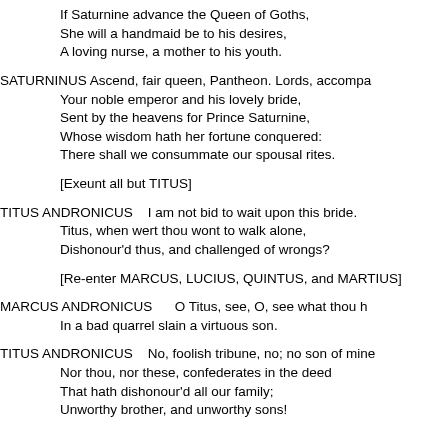If Saturnine advance the Queen of Goths,
        She will a handmaid be to his desires,
        A loving nurse, a mother to his youth.
SATURNINUS Ascend, fair queen, Pantheon. Lords, accompa
        Your noble emperor and his lovely bride,
        Sent by the heavens for Prince Saturnine,
        Whose wisdom hath her fortune conquered:
        There shall we consummate our spousal rites.
[Exeunt all but TITUS]
TITUS ANDRONICUS    I am not bid to wait upon this bride.
        Titus, when wert thou wont to walk alone,
        Dishonour'd thus, and challenged of wrongs?
[Re-enter MARCUS, LUCIUS, QUINTUS, and MARTIUS]
MARCUS ANDRONICUS       O Titus, see, O, see what thou h
        In a bad quarrel slain a virtuous son.
TITUS ANDRONICUS    No, foolish tribune, no; no son of mine
        Nor thou, nor these, confederates in the deed
        That hath dishonour'd all our family;
        Unworthy brother, and unworthy sons!